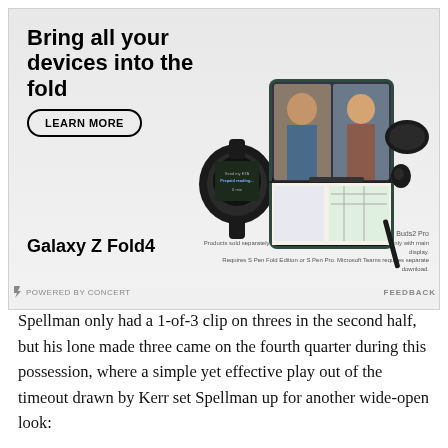[Figure (infographic): Samsung advertisement for Galaxy Z Fold4 showing the text 'Bring all your devices into the fold', a 'LEARN MORE' button, images of Samsung devices including Galaxy Z Fold4, Galaxy Watch6, Buds2 Pro, and S Pen. Disclaimer text reads: 'Also shown: Galaxy Watch6 and Buds2 Pro. Products sold separately. S Pen (optional) sold separately, compatible only with main display. Requires S Pen Fold Edition or S Pen Pro. Microsoft Teams requires separate download.']
ℰ POWERED BY CONCERT
FEEDBACK
Spellman only had a 1-of-3 clip on threes in the second half, but his lone made three came on the fourth quarter during this possession, where a simple yet effective play out of the timeout drawn by Kerr set Spellman up for another wide-open look: